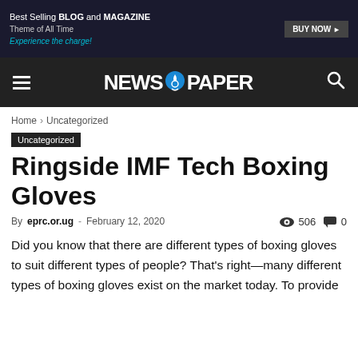[Figure (other): Advertisement banner: 'Best Selling BLOG and MAGAZINE Theme of All Time. Experience the charge!' with BUY NOW button]
NEWS 9 PAPER
Home › Uncategorized
Uncategorized
Ringside IMF Tech Boxing Gloves
By eprc.or.ug - February 12, 2020  506  0
Did you know that there are different types of boxing gloves to suit different types of people? That's right—many different types of boxing gloves exist on the market today. To provide